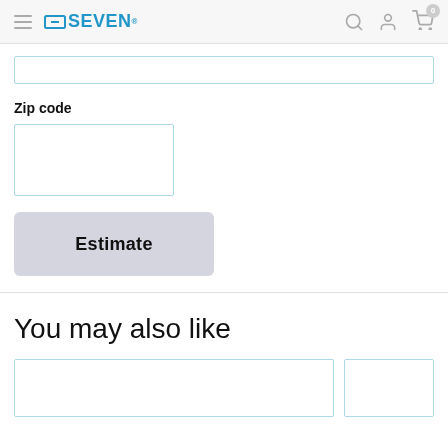ODSEVEN
Zip code
[Figure (screenshot): Empty zip code text input field with light blue border]
[Figure (screenshot): Estimate button with light gray background]
You may also like
[Figure (screenshot): Two empty product card placeholders with light blue borders]